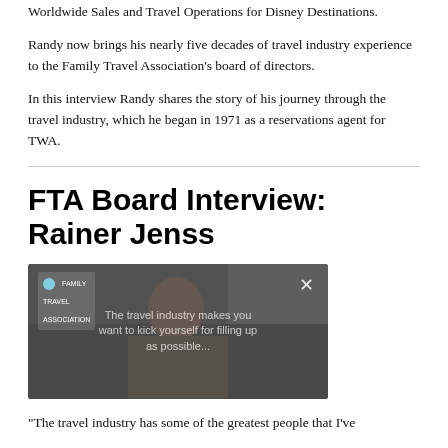Worldwide Sales and Travel Operations for Disney Destinations.
Randy now brings his nearly five decades of travel industry experience to the Family Travel Association's board of directors.
In this interview Randy shares the story of his journey through the travel industry, which he began in 1971 as a reservations agent for TWA.
FTA Board Interview: Rainer Jenss
[Figure (screenshot): Video thumbnail showing a man seated, with overlay text about travel industry and a close button in the top right corner. A small logo appears in the top left.]
“The travel industry has some of the greatest people that I’ve